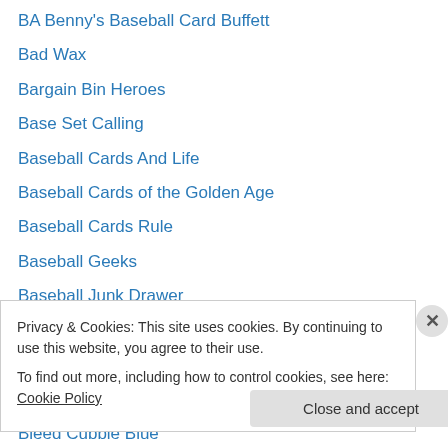BA Benny's Baseball Card Buffett
Bad Wax
Bargain Bin Heroes
Base Set Calling
Baseball Cards And Life
Baseball Cards of the Golden Age
Baseball Cards Rule
Baseball Geeks
Baseball Junk Drawer
bdj610's Topps Baseball Card Blog
Beer Leaguer
Beware The Hockey Card Closet
Bleed Cubbie Blue
Privacy & Cookies: This site uses cookies. By continuing to use this website, you agree to their use.
To find out more, including how to control cookies, see here: Cookie Policy
Close and accept